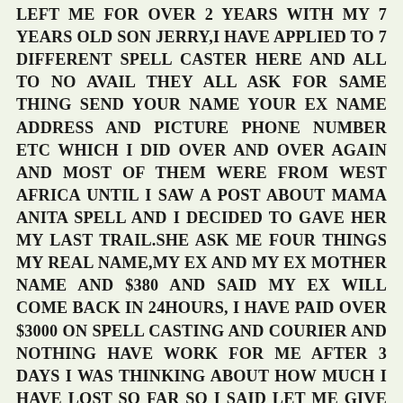LEFT ME FOR OVER 2 YEARS WITH MY 7 YEARS OLD SON JERRY,I HAVE APPLIED TO 7 DIFFERENT SPELL CASTER HERE AND ALL TO NO AVAIL THEY ALL ASK FOR SAME THING SEND YOUR NAME YOUR EX NAME ADDRESS AND PICTURE PHONE NUMBER ETC WHICH I DID OVER AND OVER AGAIN AND MOST OF THEM WERE FROM WEST AFRICA UNTIL I SAW A POST ABOUT MAMA ANITA SPELL AND I DECIDED TO GAVE HER MY LAST TRAIL.SHE ASK ME FOUR THINGS MY REAL NAME,MY EX AND MY EX MOTHER NAME AND $380 AND SAID MY EX WILL COME BACK IN 24HOURS, I HAVE PAID OVER $3000 ON SPELL CASTING AND COURIER AND NOTHING HAVE WORK FOR ME AFTER 3 DAYS I WAS THINKING ABOUT HOW MUCH I HAVE LOST SO FAR SO I SAID LET ME GIVE HER A TRY SO I CALLED HER AGAIN AND SEND MY REAL NAME,MY EX AND MY EX MOTHER NAME AND THE $380 BECAUSE I SWEAR IT WAS MY LAST TRY SO I WAS WAITING AS SHE TOLD ME TO WAIT TILL NEXT DAY AND I COULD NOT SLEEP THAT NIGHT BECAUSE I REALLY LOVE MY WIFE AND WANT HER BACK AT 9PM THAT DAY I SAW MY WIFE ON LINE ON FACE BOOK AND SHE SAID HI AT FIRST I WAS SHOCK BECAUSE SHE NEVER TALK WITH ME FOR THE